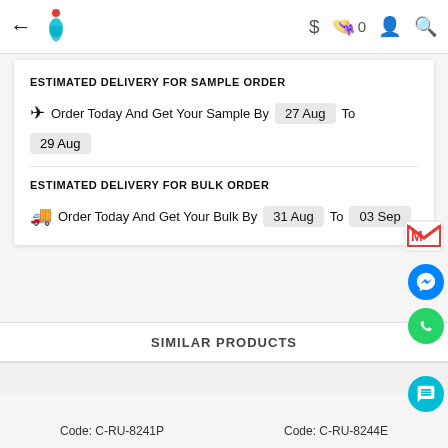← [Logo] $ 🛍 0 👤 🔍
ESTIMATED DELIVERY FOR SAMPLE ORDER
✈ Order Today And Get Your Sample By 27 Aug To 29 Aug
ESTIMATED DELIVERY FOR BULK ORDER
🚚 Order Today And Get Your Bulk By 31 Aug To 03 Sep
SIMILAR PRODUCTS
Code: C-RU-8241P
Code: C-RU-8244E